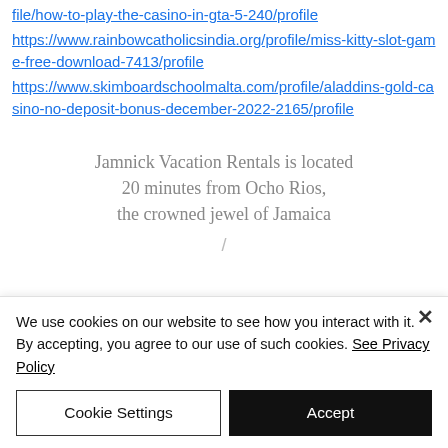file/how-to-play-the-casino-in-gta-5-240/profile
https://www.rainbowcatholicsindia.org/profile/miss-kitty-slot-game-free-download-7413/profile
https://www.skimboardschoolmalta.com/profile/aladdins-gold-casino-no-deposit-bonus-december-2022-2165/profile
Jamnick Vacation Rentals is located 20 minutes from Ocho Rios, the crowned jewel of Jamaica
We use cookies on our website to see how you interact with it. By accepting, you agree to our use of such cookies. See Privacy Policy